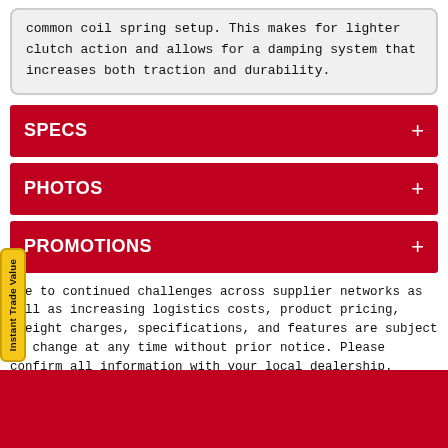common coil spring setup. This makes for lighter clutch action and allows for a damping system that increases both traction and durability.
SPECS
PHOTOS
PROMOTIONS
Due to continued challenges across supplier networks as well as increasing logistics costs, product pricing, freight charges, specifications, and features are subject to change at any time without prior notice. Please confirm all information with your local dealership.
[Figure (other): Instant Trade Value badge - yellow vertical pill-shaped button on left side]
Red footer bar at bottom of page